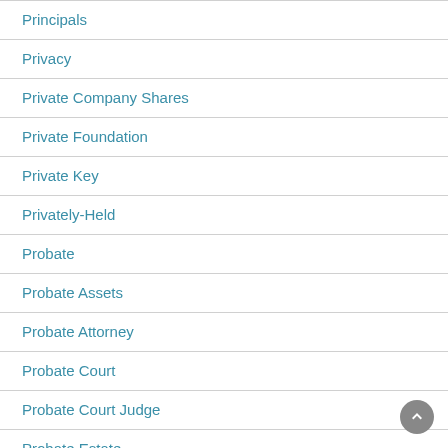Principals
Privacy
Private Company Shares
Private Foundation
Private Key
Privately-Held
Probate
Probate Assets
Probate Attorney
Probate Court
Probate Court Judge
Probate Estate